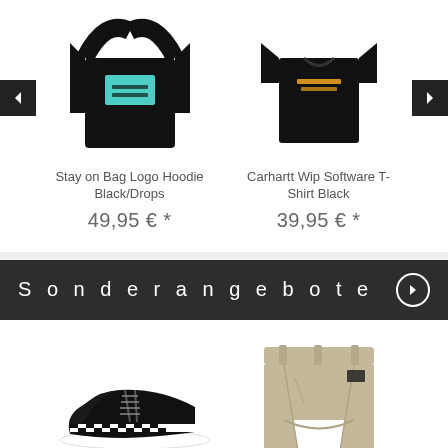[Figure (photo): Black hoodie with teal logo box - Stay on Bag Logo Hoodie Black/Drops]
Stay on Bag Logo Hoodie Black/Drops
49,95 € *
[Figure (photo): Black t-shirt with Carhartt WIP logo - Carhartt Wip Software T-Shirt Black]
Carhartt Wip Software T-Shirt Black
39,95 € *
Sonderangebote
[Figure (photo): Black and white Vans sneaker shoes]
[Figure (photo): Beige/khaki shorts]